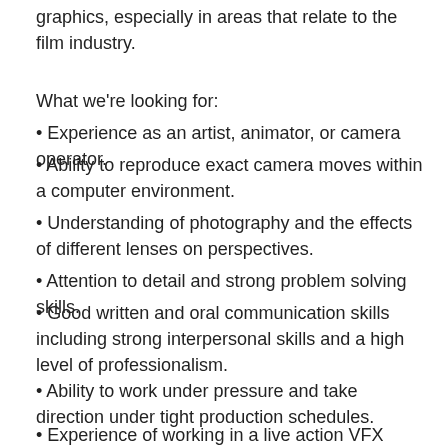graphics, especially in areas that relate to the film industry.
What we're looking for:
• Experience as an artist, animator, or camera operator.
• Ability to reproduce exact camera moves within a computer environment.
• Understanding of photography and the effects of different lenses on perspectives.
• Attention to detail and strong problem solving skills.
• Good written and oral communication skills including strong interpersonal skills and a high level of professionalism.
• Ability to work under pressure and take direction under tight production schedules.
• Experience of working in a live action VFX pipeline.